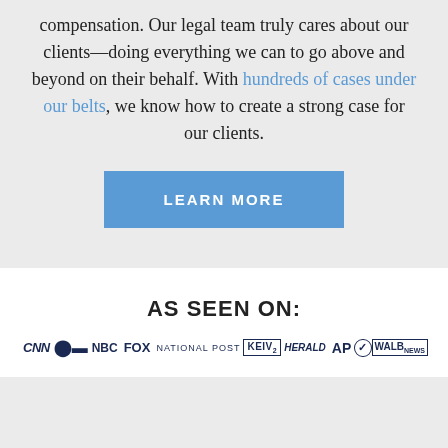compensation. Our legal team truly cares about our clients—doing everything we can to go above and beyond on their behalf. With hundreds of cases under our belts, we know how to create a strong case for our clients.
LEARN MORE
AS SEEN ON:
[Figure (logo): Media outlet logos in a horizontal row: CNN, NBC, FOX, NATIONAL POST, a news channel logo, HERALD, AP, and WALB NEWS]